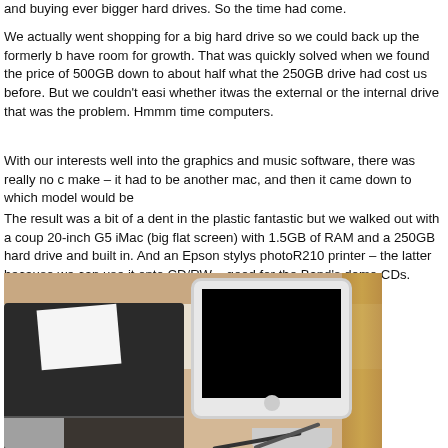and buying ever bigger hard drives. So the time had come.
We actually went shopping for a big hard drive so we could back up the formerly b... have room for growth. That was quickly solved when we found the price of 500GB down to about half what the 250GB drive had cost us before. But we couldn't easi... whether itwas the external or the internal drive that was the problem. Hmmm time... computers.
With our interests well into the graphics and music software, there was really no c... make – it had to be another mac, and then it came down to which model would be...
The result was a bit of a dent in the plastic fantastic but we walked out with a coup... 20-inch G5 iMac (big flat screen) with 1.5GB of RAM and a 250GB hard drive and... built in. And an Epson stylys photoR210 printer – the latter because we can use it... onto CD/RW – good for the Band's demo CDs.
[Figure (photo): Photo of an Epson printer (left) and a 20-inch G5 iMac with flat screen (right) on a desk, with wooden beams visible in the background.]